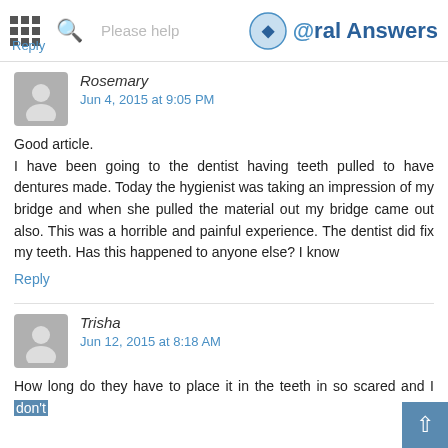Please help | Reply | Oral Answers
Rosemary
Jun 4, 2015 at 9:05 PM
Good article.
I have been going to the dentist having teeth pulled to have dentures made. Today the hygienist was taking an impression of my bridge and when she pulled the material out my bridge came out also. This was a horrible and painful experience. The dentist did fix my teeth. Has this happened to anyone else? I know
Reply
Trisha
Jun 12, 2015 at 8:18 AM
How long do they have to place it in the teeth in so scared and I don't